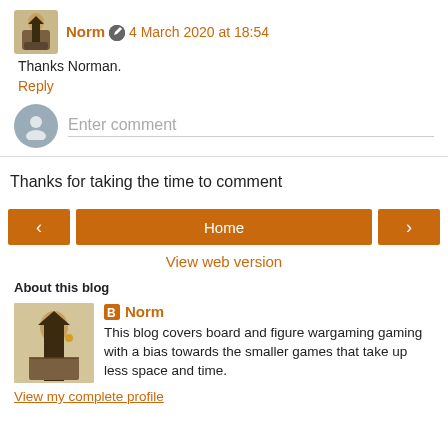Norm · 4 March 2020 at 18:54
Thanks Norman.
Reply
Enter comment
Thanks for taking the time to comment
< Home >
View web version
About this blog
[Figure (photo): Blogger logo icon and author avatar photo showing a Japanese warrior figure]
Norm
This blog covers board and figure wargaming gaming with a bias towards the smaller games that take up less space and time.
View my complete profile